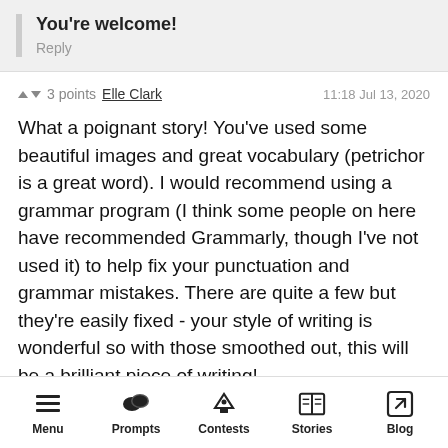You're welcome!
Reply
▲ ▼ 3 points  Elle Clark  11:18 Jul 13, 2020
What a poignant story! You've used some beautiful images and great vocabulary (petrichor is a great word). I would recommend using a grammar program (I think some people on here have recommended Grammarly, though I've not used it) to help fix your punctuation and grammar mistakes. There are quite a few but they're easily fixed - your style of writing is wonderful so with those smoothed out, this will be a brilliant piece of writing!
Reply
Menu  Prompts  Contests  Stories  Blog